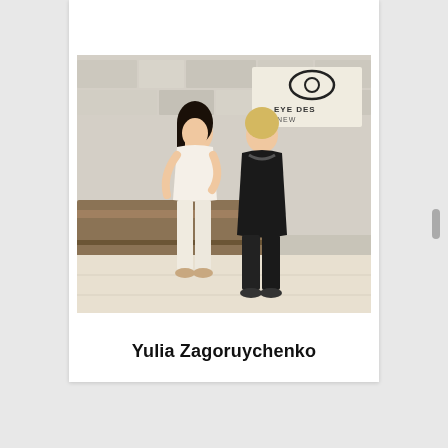[Figure (photo): Two women posing together in front of an 'Eye Design New York' salon reception area with a stone wall background. One woman is dressed in white/cream outfit, the other in black.]
Yulia Zagoruychenko